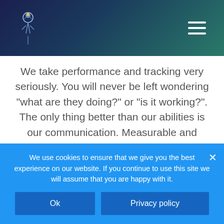[Logo and navigation menu]
We take performance and tracking very seriously. You will never be left wondering "what are they doing?" or "is it working?". The only thing better than our abilities is our communication. Measurable and accountable campaigns.
[Figure (illustration): Dark circular icon containing a white trophy/cup with a star on it]
We use cookies to ensure that we give you the best experience on our website. If you continue to use this site we will assume that you are happy with it.
Ok   Privacy policy